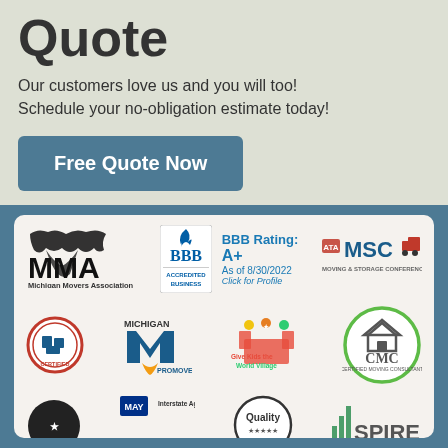Quote
Our customers love us and you will too! Schedule your no-obligation estimate today!
Free Quote Now
[Figure (logo): Logos panel: Michigan Movers Association (MMA), BBB Accredited Business BBB Rating A+ As of 8/30/2022 Click for Profile, MSC Moving & Storage Conference, Certified Moving Consultant, Michigan ProMover, Give Kids the World Village, CMC Certified Moving Consultant circle logo, plus partial row of more logos including Quality and SPIRE]
BBB Rating: A+ As of 8/30/2022 Click for Profile